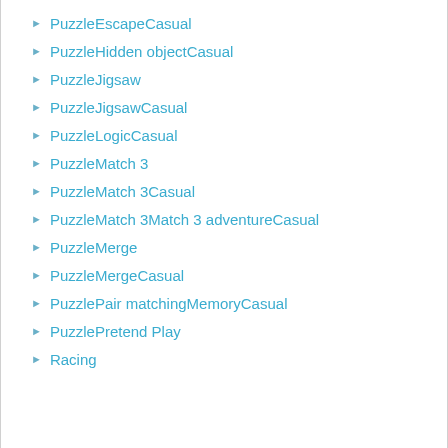PuzzleEscapeCasual
PuzzleHidden objectCasual
PuzzleJigsaw
PuzzleJigsawCasual
PuzzleLogicCasual
PuzzleMatch 3
PuzzleMatch 3Casual
PuzzleMatch 3Match 3 adventureCasual
PuzzleMerge
PuzzleMergeCasual
PuzzlePair matchingMemoryCasual
PuzzlePretend Play
Racing